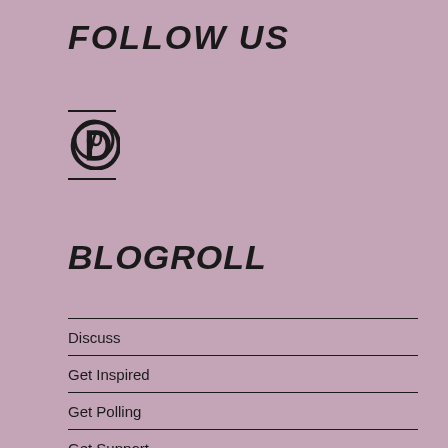FOLLOW US
[Figure (logo): Pinterest logo icon (stylized P with circle)]
BLOGROLL
Discuss
Get Inspired
Get Polling
Get Support